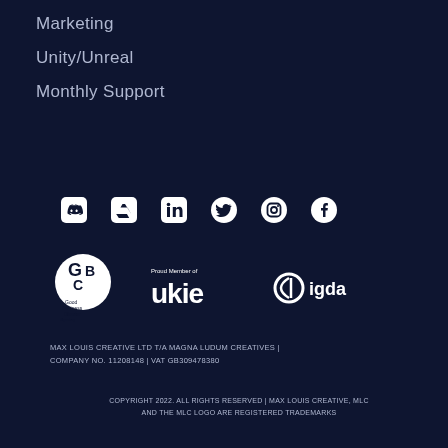Marketing
Unity/Unreal
Monthly Support
[Figure (other): Row of social media icons: Discord, ArtStation, LinkedIn, Twitter, Instagram, Facebook]
[Figure (logo): Three logos in a row: Good Business Charter (GBC), Proud Member of ukie, igda]
MAX LOUIS CREATIVE LTD T/A MAGNA LUDUM CREATIVES | COMPANY NO. 11208148 | VAT GB309478380
COPYRIGHT 2022. ALL RIGHTS RESERVED | MAX LOUIS CREATIVE, MLC AND THE MLC LOGO ARE REGISTERED TRADEMARKS